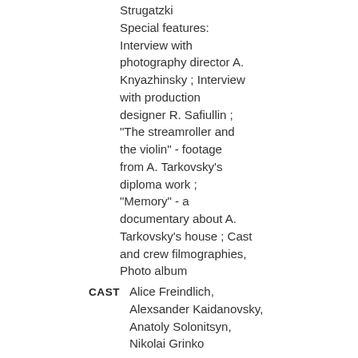Strugatzki Special features: Interview with photography director A. Knyazhinsky ; Interview with production designer R. Safiullin ; "The streamroller and the violin" - footage from A. Tarkovsky's diploma work ; "Memory" - a documentary about A. Tarkovsky's house ; Cast and crew filmographies, Photo album
CAST   Alice Freindlich, Alexsander Kaidanovsky, Anatoly Solonitsyn, Nikolai Grinko